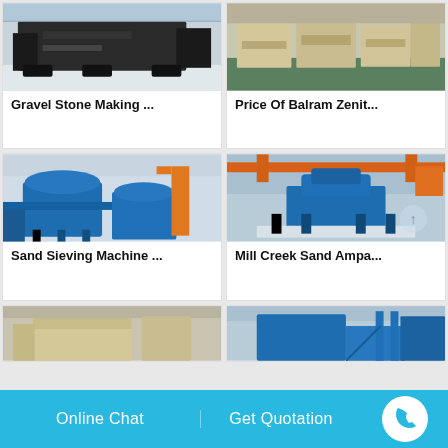[Figure (photo): Industrial gravel stone making machine, dark colored equipment in factory]
Gravel Stone Making …
[Figure (photo): Balram Zenit machines in beige/cream color in a factory setting]
Price Of Balram Zenit…
[Figure (photo): Blue sand sieving machine in a large industrial facility]
Sand Sieving Machine …
[Figure (photo): Blue mill creek sand machine with orange crane overhead]
Mill Creek Sand Ampa…
[Figure (photo): Beige/cream colored industrial processing machine in factory]
[Figure (photo): Blue industrial processing equipment with stairs/walkways]
Online Chat
Get Quotation